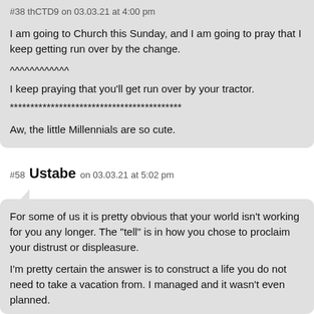#38 thCTD9 on 03.03.21 at 4:00 pm
I am going to Church this Sunday, and I am going to pray that I keep getting run over by the change.

^^^^^^^^^^^^
I keep praying that you'll get run over by your tractor.
******************************************

Aw, the little Millennials are so cute.
#58 Ustabe on 03.03.21 at 5:02 pm
For some of us it is pretty obvious that your world isn't working for you any longer. The "tell" is in how you chose to proclaim your distrust or displeasure.

I'm pretty certain the answer is to construct a life you do not need to take a vacation from. I managed and it wasn't even planned.

Obviously there will be outliers, failure along the way but I have never made as much money on a project as when I wasn't really planning on making money.